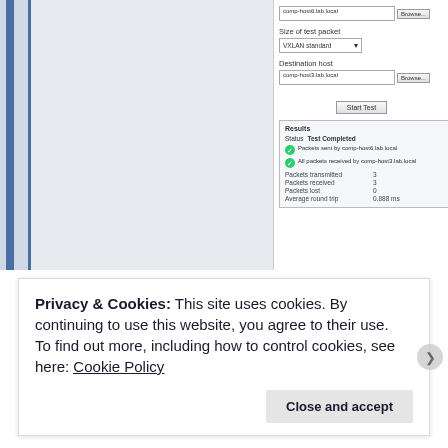[Figure (screenshot): Screenshot of a network test tool UI showing source host comp-host6.lab.local, size of test packet VXLAN standard, destination host comp-host3.lab.local, with a Start Test button and Results section showing Test Completed status, packets sent/received checks, 3 packets transmitted, 3 received, 0 lost, average round trip 0.888 ms.]
Privacy & Cookies: This site uses cookies. By continuing to use this website, you agree to their use.
To find out more, including how to control cookies, see here: Cookie Policy